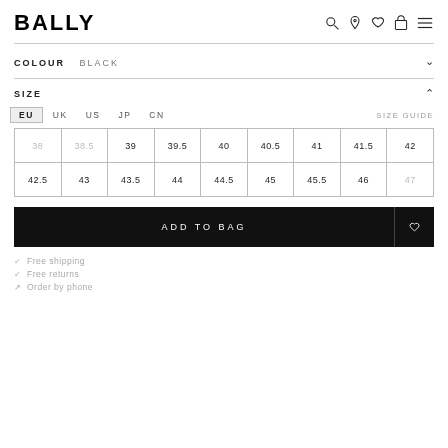BALLY
COLOUR  BLACK
SIZE
EU  UK  US  JP  CN  SIZE GUIDE
| 38 | 38.5 | 39 | 39.5 | 40 | 40.5 | 41 | 41.5 | 42 |
| 42.5 | 43 | 43.5 | 44 | 44.5 | 45 | 45.5 | 46 | 47 |
ADD TO BAG
✓  Free shipping
✓  Free returns
↗  Order by phone